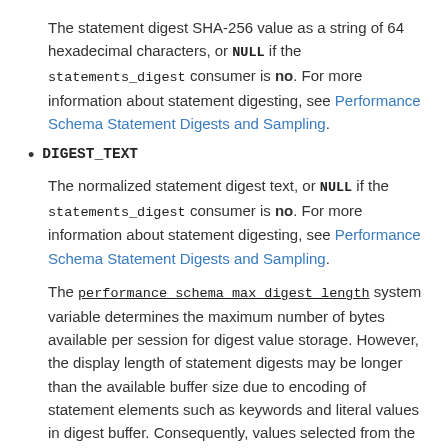The statement digest SHA-256 value as a string of 64 hexadecimal characters, or NULL if the statements_digest consumer is no. For more information about statement digesting, see Performance Schema Statement Digests and Sampling.
DIGEST_TEXT
The normalized statement digest text, or NULL if the statements_digest consumer is no. For more information about statement digesting, see Performance Schema Statement Digests and Sampling.
The performance_schema_max_digest_length system variable determines the maximum number of bytes available per session for digest value storage. However, the display length of statement digests may be longer than the available buffer size due to encoding of statement elements such as keywords and literal values in digest buffer. Consequently, values selected from the DIGEST_TEXT column of statement event tables may appear to exceed the